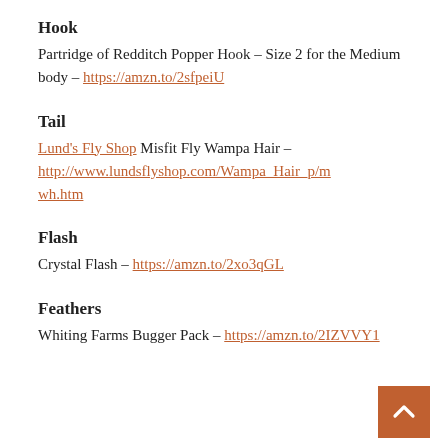Hook
Partridge of Redditch Popper Hook – Size 2 for the Medium body – https://amzn.to/2sfpeiU
Tail
Lund's Fly Shop Misfit Fly Wampa Hair – http://www.lundsflyshop.com/Wampa_Hair_p/mwh.htm
Flash
Crystal Flash – https://amzn.to/2xo3qGL
Feathers
Whiting Farms Bugger Pack – https://amzn.to/2IZVVY1